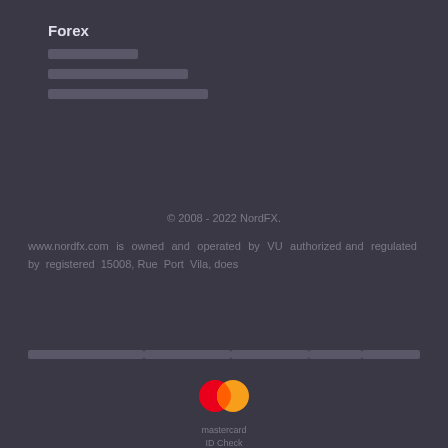Forex
[redacted navigation item]
[redacted navigation item wide]
[redacted navigation item wider]
© 2008 - 2022 NordFX.
www.nordfx.com is owned and operated by VU authorized and regulated by registered 15008, Rue Port Vila, does
[redacted footer links]
[Figure (logo): Mastercard ID Check logo — two overlapping circles (red and orange/yellow) with text 'mastercard' and 'ID Check' below]